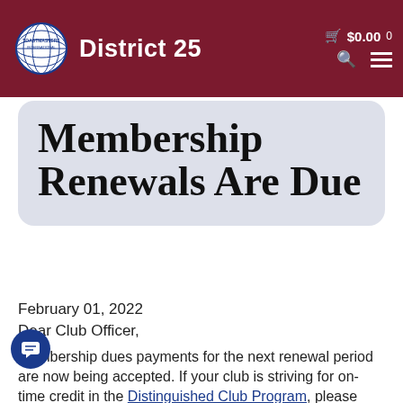Toastmasters International District 25 — $0.00  0
Membership Renewals Are Due
February 01, 2022
Dear Club Officer,
Membership dues payments for the next renewal period are now being accepted. If your club is striving for on-time credit in the Distinguished Club Program, please submit all payments on or before April 1, 2022. As an additional reminder, the minimum membership requirement for a club to remain in good standing is eight